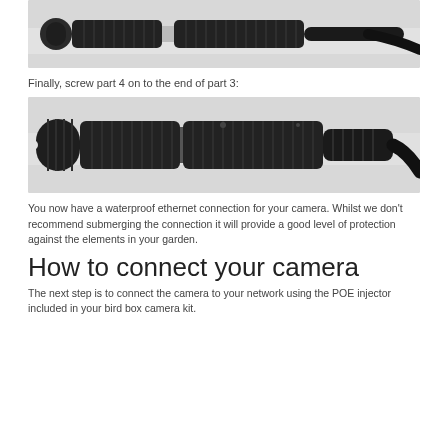[Figure (photo): Close-up photo of a black ribbed waterproof ethernet connector assembly, partially assembled, viewed from the side against a white/grey background.]
Finally, screw part 4 on to the end of part 3:
[Figure (photo): Close-up photo of a black ribbed waterproof ethernet connector assembly, fully assembled (part 4 screwed onto part 3), with black cable exiting to the right, on a white background.]
You now have a waterproof ethernet connection for your camera. Whilst we don't recommend submerging the connection it will provide a good level of protection against the elements in your garden.
How to connect your camera
The next step is to connect the camera to your network using the POE injector included in your bird box camera kit.